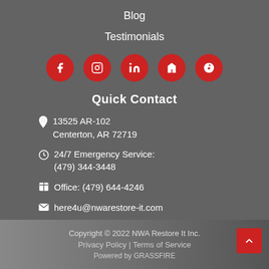Blog
Testimonials
[Figure (illustration): Five red circular social media icon buttons for Facebook, Instagram, LinkedIn, Houzz, and Yelp]
Quick Contact
13525 AR-102
Centerton, AR 72719
24/7 Emergency Service:
(479) 344-3448
Office: (479) 644-4246
here4u@nwarestore-it.com
Copyright © 2022 NWA Restore It Inc.
Privacy Policy | Terms of Service
Powered by GRASSFIRE